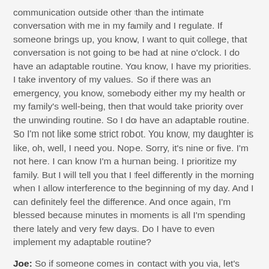communication outside other than the intimate conversation with me in my family and I regulate. If someone brings up, you know, I want to quit college, that conversation is not going to be had at nine o'clock. I do have an adaptable routine. You know, I have my priorities. I take inventory of my values. So if there was an emergency, you know, somebody either my my health or my family's well-being, then that would take priority over the unwinding routine. So I do have an adaptable routine. So I'm not like some strict robot. You know, my daughter is like, oh, well, I need you. Nope. Sorry, it's nine or five. I'm not here. I can know I'm a human being. I prioritize my family. But I will tell you that I feel differently in the morning when I allow interference to the beginning of my day. And I can definitely feel the difference. And once again, I'm blessed because minutes in moments is all I'm spending there lately and very few days. Do I have to even implement my adaptable routine?
Joe: So if someone comes in contact with you via, let's say, social media and I don't even know how you keep up the pace that you do with the live videos on Instagram and Facebook. And I have a question about Miles that I want to ask you before we finish up. Are you getting to bed at 11 like it mentions that in the book? Are you actually only sleeping five hours? You're getting about 11, getting up at four for meditation.
David: So this is the most Dave Meltzer-ish that I've eaten...